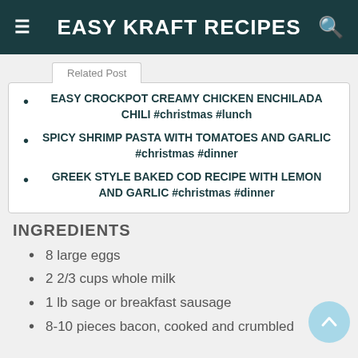EASY KRAFT RECIPES
Related Post
EASY CROCKPOT CREAMY CHICKEN ENCHILADA CHILI #christmas #lunch
SPICY SHRIMP PASTA WITH TOMATOES AND GARLIC #christmas #dinner
GREEK STYLE BAKED COD RECIPE WITH LEMON AND GARLIC #christmas #dinner
INGREDIENTS
8 large eggs
2 2/3 cups whole milk
1 lb sage or breakfast sausage
8-10 pieces bacon, cooked and crumbled